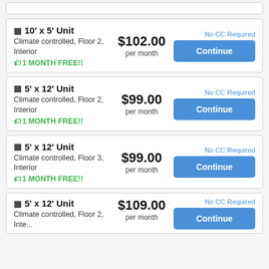10' x 5' Unit — Climate controlled, Floor 2, Interior — $102.00 per month — 1 MONTH FREE!! — No CC Required — Continue
5' x 12' Unit — Climate controlled, Floor 2, Interior — $99.00 per month — 1 MONTH FREE!! — No CC Required — Continue
5' x 12' Unit — Climate controlled, Floor 3, Interior — $99.00 per month — 1 MONTH FREE!! — No CC Required — Continue
5' x 12' Unit — Climate controlled, Floor 2, Interior — $109.00 per month — No CC Required — Continue